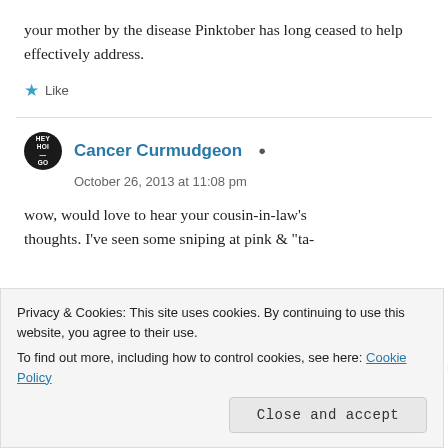your mother by the disease Pinktober has long ceased to help effectively address.
Like
Cancer Curmudgeon
October 26, 2013 at 11:08 pm
wow, would love to hear your cousin-in-law's thoughts. I've seen some sniping at pink & "ta-
Privacy & Cookies: This site uses cookies. By continuing to use this website, you agree to their use.
To find out more, including how to control cookies, see here: Cookie Policy
Close and accept